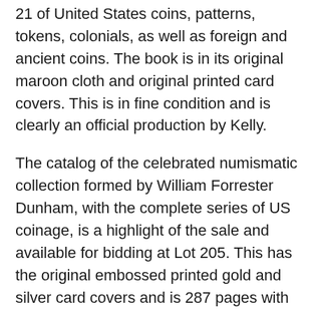21 of United States coins, patterns, tokens, colonials, as well as foreign and ancient coins. The book is in its original maroon cloth and original printed card covers. This is in fine condition and is clearly an official production by Kelly.
The catalog of the celebrated numismatic collection formed by William Forrester Dunham, with the complete series of US coinage, is a highlight of the sale and available for bidding at Lot 205. This has the original embossed printed gold and silver card covers and is 287 pages with 4169 lots in the catalog. There are two enlarged photographic plates of both sides of Dunham's 1804 dollar, commissioned by Mehl and inscribed by him on the back. A photocopy list of prices realized is also bound into the book. A full and detailed description of this historical piece of numismatic literature is available in the online catalog.
The live online bidding commences at Noon Eastern Time on Saturday July 25th, 2015. Absentee bidding is currently